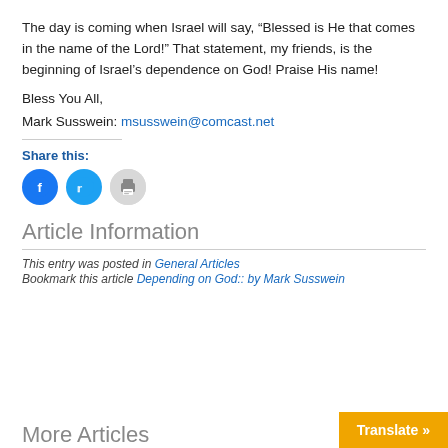The day is coming when Israel will say, “Blessed is He that comes in the name of the Lord!” That statement, my friends, is the beginning of Israel’s dependence on God! Praise His name!
Bless You All,
Mark Susswein: msusswein@comcast.net
Share this:
[Figure (other): Social share buttons: Facebook (blue circle), Twitter (blue circle), Print (gray circle)]
Article Information
This entry was posted in General Articles
Bookmark this article Depending on God:: by Mark Susswein
More Articles